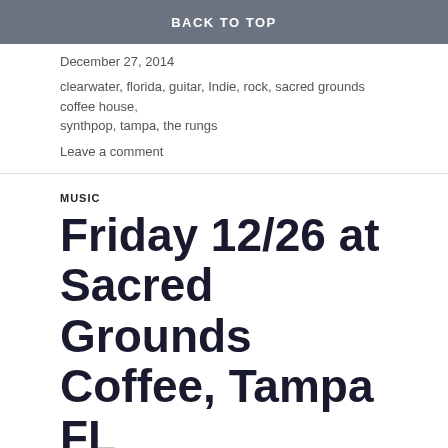BACK TO TOP
December 27, 2014
clearwater, florida, guitar, Indie, rock, sacred grounds coffee house, synthpop, tampa, the rungs
Leave a comment
MUSIC
Friday 12/26 at Sacred Grounds Coffee, Tampa FL
The last time Diwas and I were in Florida was just before we formed something that could be called a band. If I remember correctly, it was springtime a few years ago. We were hanging out in the kitchen of my mom's house